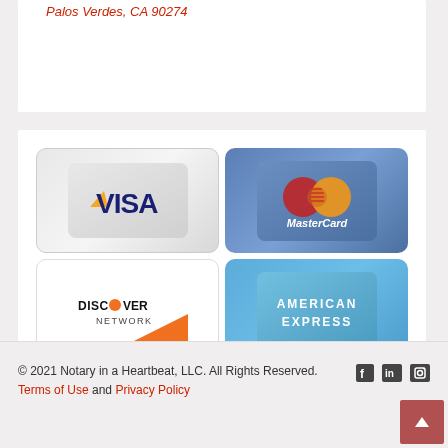Palos Verdes, CA 90274
[Figure (logo): Payment method logos: Visa, MasterCard, Discover Network, American Express in a 2x2 grid]
© 2021 Notary in a Heartbeat, LLC. All Rights Reserved. Terms of Use and Privacy Policy